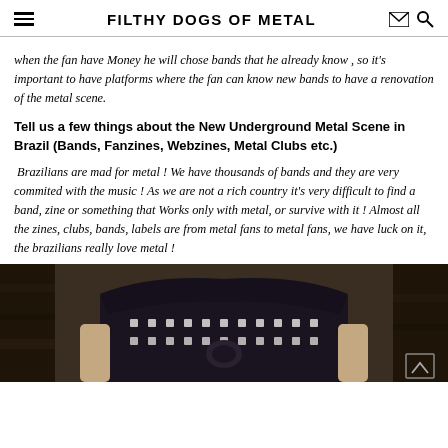FILTHY DOGS OF METAL
when the fan have Money he will chose bands that he already know , so it's important to have platforms where the fan can know new bands to have a renovation of the metal scene.
Tell us a few things about the New Underground Metal Scene in Brazil (Bands, Fanzines, Webzines, Metal Clubs etc.)
Brazilians are mad for metal ! We have thousands of bands and they are very commited with the music ! As we are not a rich country it's very difficult to find a band, zine or something that Works only with metal, or survive with it ! Almost all the zines, clubs, bands, labels are from metal fans to metal fans, we have luck on it, the brazilians really love metal !
[Figure (photo): Photo of a person wearing a metal studded leather jacket, outdoor background]